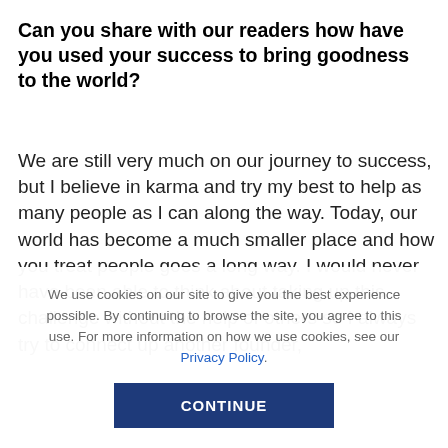Can you share with our readers how have you used your success to bring goodness to the world?
We are still very much on our journey to success, but I believe in karma and try my best to help as many people as I can along the way. Today, our world has become a much smaller place and how you treat people goes a long way. I would never have been able to think about taking up this challenge without the help of others so I always try to connect up another founder,
We use cookies on our site to give you the best experience possible. By continuing to browse the site, you agree to this use. For more information on how we use cookies, see our Privacy Policy.